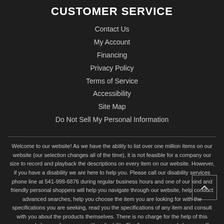CUSTOMER SERVICE
Contact Us
My Account
Financing
Privacy Policy
Terms of Service
Accessibility
Site Map
Do Not Sell My Personal Information
Welcome to our website! As we have the ability to list over one million items on our website (our selection changes all of the time), it is not feasible for a company our size to record and playback the descriptions on every item on our website. However, if you have a disability we are here to help you. Please call our disability services phone line at 541-998-6876 during regular business hours and one of our kind and friendly personal shoppers will help you navigate through our website, help conduct advanced searches, help you choose the item you are looking for with the specifications you are seeking, read you the specifications of any item and consult with you about the products themselves. There is no charge for the help of this personal shopper for anyone with a disability. Finally, your personal shopper will